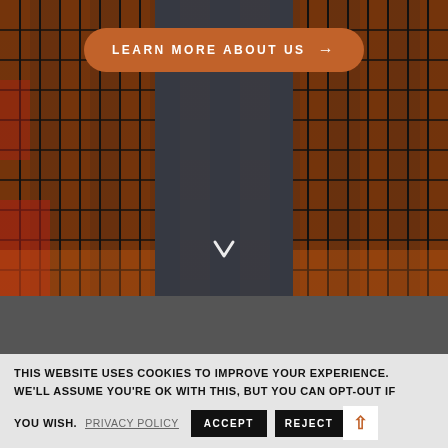[Figure (photo): Hero section with dark overlay showing tall city skyscraper buildings with orange and black glass facades, viewed from below looking up between two buildings with a dark sky visible between them]
LEARN MORE ABOUT US →
THIS WEBSITE USES COOKIES TO IMPROVE YOUR EXPERIENCE. WE'LL ASSUME YOU'RE OK WITH THIS, BUT YOU CAN OPT-OUT IF YOU WISH.
PRIVACY POLICY
ACCEPT
REJECT